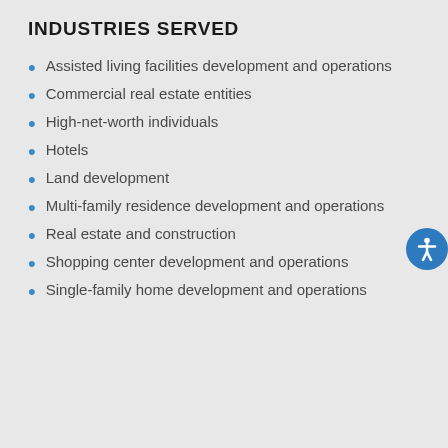INDUSTRIES SERVED
Assisted living facilities development and operations
Commercial real estate entities
High-net-worth individuals
Hotels
Land development
Multi-family residence development and operations
Real estate and construction
Shopping center development and operations
Single-family home development and operations